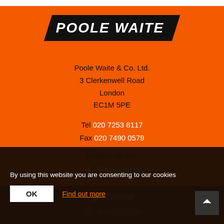[Figure (logo): Poole Waite logo — white bold italic text on black parallelogram background]
Poole Waite & Co. Ltd.
3 Clerkenwell Road
London
EC1M 5PE
Tel 020 7253 8117
Fax 020 7490 0579
Follow us on:
Facebook
Twitter
Instagram
By using this website you are consenting to our cookies
OK
Find out more